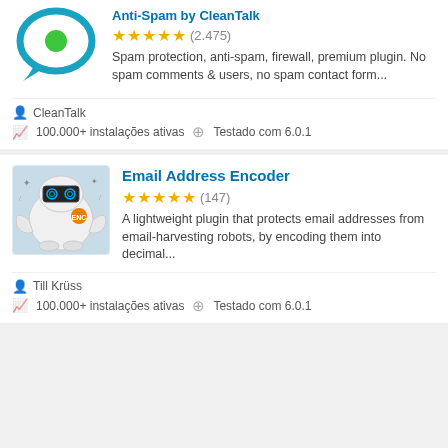[Figure (illustration): CleanTalk plugin icon: teal speech bubble with green dot]
Anti-Spam by CleanTalk
★★★★½ (2.475)
Spam protection, anti-spam, firewall, premium plugin. No spam comments & users, no spam contact form...
CleanTalk
100.000+ instalações ativas   Testado com 6.0.1
[Figure (illustration): Email Address Encoder plugin icon: white robot with spiral eyes]
Email Address Encoder
★★★★½ (147)
A lightweight plugin that protects email addresses from email-harvesting robots, by encoding them into decimal...
Till Krüss
100.000+ instalações ativas   Testado com 6.0.1